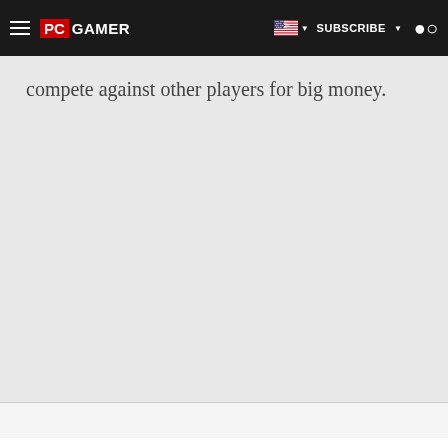PC GAMER | SUBSCRIBE
compete against other players for big money.